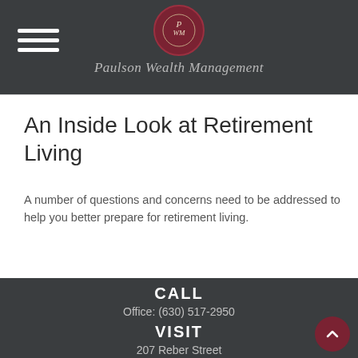Paulson Wealth Management
An Inside Look at Retirement Living
A number of questions and concerns need to be addressed to help you better prepare for retirement living.
CALL
Office: (630) 517-2950
VISIT
207 Reber Street
Suite 100